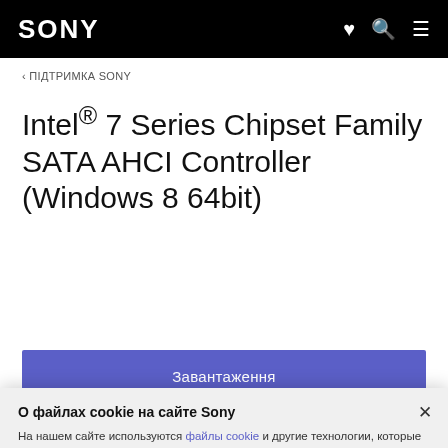SONY
‹ ПІДТРИМКА SONY
Intel® 7 Series Chipset Family SATA AHCI Controller (Windows 8 64bit)
Завантаження
Установлення   Відомості про файл
О файлах cookie на сайте Sony
На нашем сайте используются файлы cookie и другие технологии, которые позволяют нам и нашим партнерам идентифицировать вас, а также изучать, как вы используете веб-сайт. Дальнейшее использование этого сайта подразумевает ваше согласие на использование этих технологий.
Принять